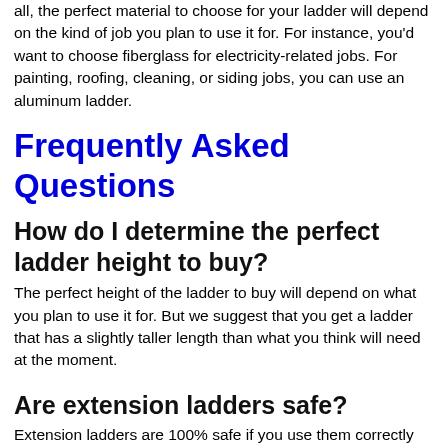all, the perfect material to choose for your ladder will depend on the kind of job you plan to use it for. For instance, you'd want to choose fiberglass for electricity-related jobs. For painting, roofing, cleaning, or siding jobs, you can use an aluminum ladder.
Frequently Asked Questions
How do I determine the perfect ladder height to buy?
The perfect height of the ladder to buy will depend on what you plan to use it for. But we suggest that you get a ladder that has a slightly taller length than what you think will need at the moment.
Are extension ladders safe?
Extension ladders are 100% safe if you use them correctly